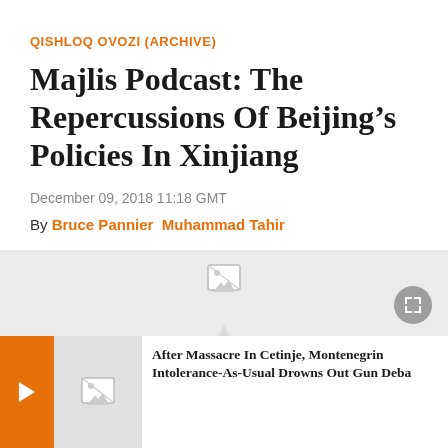QISHLOQ OVOZI (ARCHIVE)
Majlis Podcast: The Repercussions Of Beijing’s Policies In Xinjiang
December 09, 2018 11:18 GMT
By Bruce Pannier  Muhammad Tahir
[Figure (screenshot): Media player area with broken image placeholder, expand button, orange navigation arrow, and a related article card showing a broken image thumbnail and partial headline: After Massacre In Cetinje, Montenegrin Intolerance-As-Usual Drowns Out Gun Deba]
After Massacre In Cetinje, Montenegrin Intolerance-As-Usual Drowns Out Gun Deba